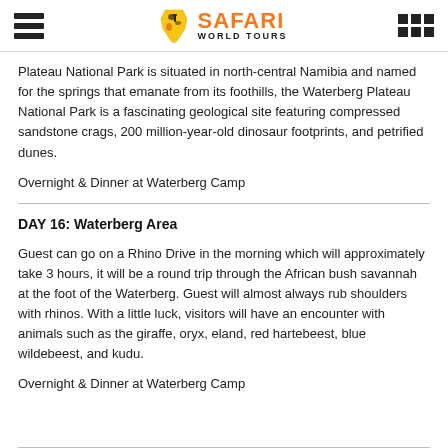Safari World Tours
Plateau National Park is situated in north-central Namibia and named for the springs that emanate from its foothills, the Waterberg Plateau National Park is a fascinating geological site featuring compressed sandstone crags, 200 million-year-old dinosaur footprints, and petrified dunes.
Overnight & Dinner at Waterberg Camp
DAY 16: Waterberg Area
Guest can go on a Rhino Drive in the morning which will approximately take 3 hours, it will be a round trip through the African bush savannah at the foot of the Waterberg. Guest will almost always rub shoulders with rhinos. With a little luck, visitors will have an encounter with animals such as the giraffe, oryx, eland, red hartebeest, blue wildebeest, and kudu.
Overnight & Dinner at Waterberg Camp